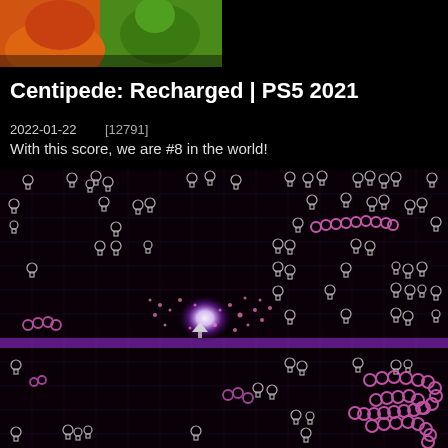[Figure (screenshot): Partial comic-style artwork showing orange and green character at top left corner]
Centipede: Recharged | PS5 2021
2022-01-22    [12791]
With this score, we are #8 in the world!
[Figure (screenshot): Centipede: Recharged gameplay screenshot showing dark purple/black grid field with glowing pink/white mushrooms, centipede segments (pink rings), and explosion effects on a grid background]